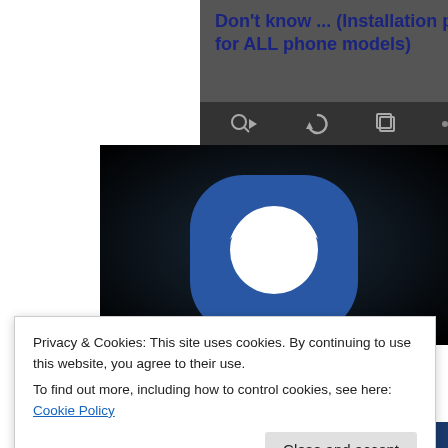[Figure (screenshot): Android phone screenshot showing a dark grey browser screen with bold blue text: Don't know ... (Installation package for ALL phone models). Below is a browser toolbar with icons on dark background.]
[Figure (screenshot): Screenshot showing a dark background with a blue circular app icon featuring a white circle in the center and yellow elements at the bottom.]
Privacy & Cookies: This site uses cookies. By continuing to use this website, you agree to their use.
To find out more, including how to control cookies, see here: Cookie Policy
Close and accept
[Figure (screenshot): Bottom strip of a dark blue screenshot.]